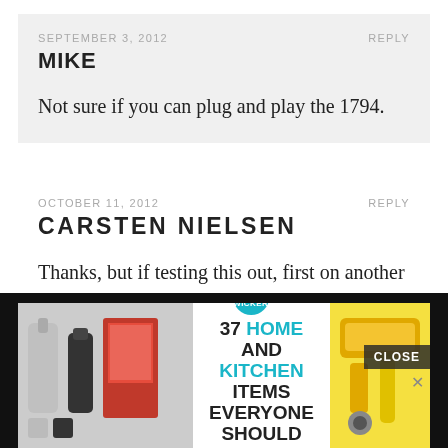SEPTEMBER 3, 2012    REPLY
MIKE
Not sure if you can plug and play the 1794.
OCTOBER 11, 2012    REPLY
CARSTEN NIELSEN
Thanks, but if testing this out, first on another cheaper Aune version. I did not go
[Figure (screenshot): Advertisement overlay: '37 HOME AND KITCHEN ITEMS EVERYONE SHOULD OWN' with kitchen product images, teal badge with '22 WICKER', and a CLOSE button]